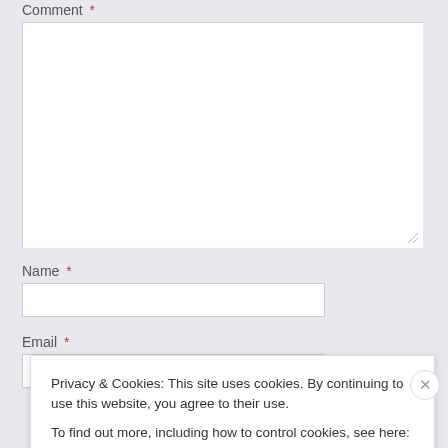Comment *
[Figure (screenshot): Large empty comment textarea with resize handle]
Name *
[Figure (screenshot): Single-line text input for Name]
Email *
[Figure (screenshot): Single-line text input for Email]
Privacy & Cookies: This site uses cookies. By continuing to use this website, you agree to their use.
To find out more, including how to control cookies, see here: Cookie Policy
Close and accept